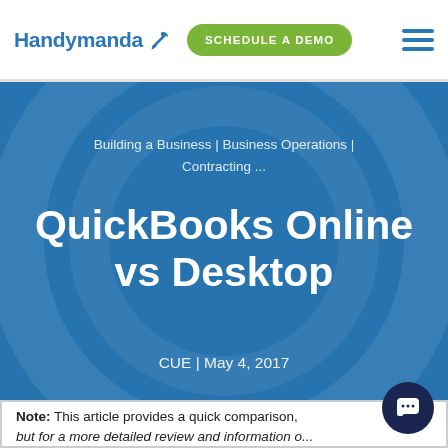Handymanda | SCHEDULE A DEMO
Building a Business | Business Operations | Contracting ...
QuickBooks Online vs Desktop
CUE | May 4, 2017
Note: This article provides a quick comparison, but for a more detailed review and information on...